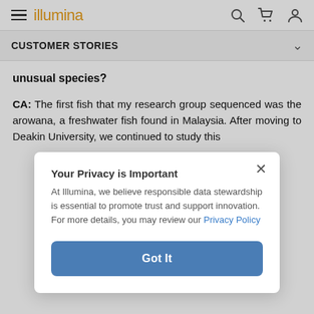illumina
CUSTOMER STORIES
unusual species?
CA: The first fish that my research group sequenced was the arowana, a freshwater fish found in Malaysia. After moving to Deakin University, we continued to study this
Your Privacy is Important
At Illumina, we believe responsible data stewardship is essential to promote trust and support innovation. For more details, you may review our Privacy Policy
Got It